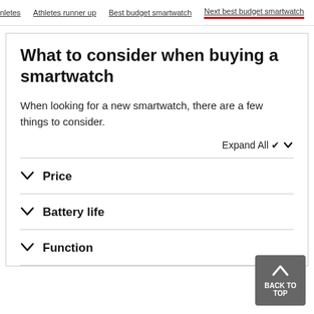nletes  Athletes runner up  Best budget smartwatch  Next best budget smartwatch
What to consider when buying a smartwatch
When looking for a new smartwatch, there are a few things to consider.
Price
Battery life
Function